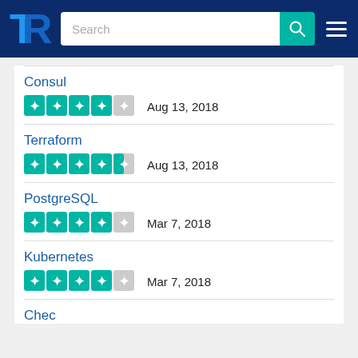[Figure (screenshot): TrustRadius website header with logo, search bar, and hamburger menu on dark blue background]
Consul — 4 stars — Aug 13, 2018
Terraform — 4.5 stars — Aug 13, 2018
PostgreSQL — 4 stars — Mar 7, 2018
Kubernetes — 4 stars — Mar 7, 2018
Chec… (partially visible)